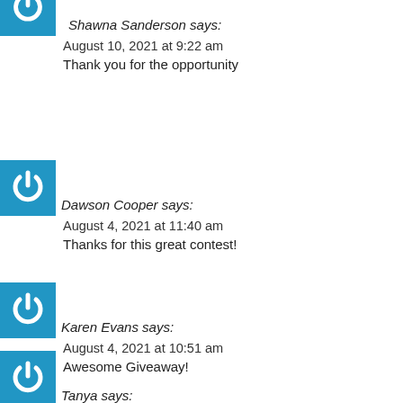[Figure (logo): Blue square with white power button icon (partially cropped at top)]
Shawna Sanderson says:
August 10, 2021 at 9:22 am
Thank you for the opportunity
[Figure (logo): Blue square with white power button icon]
Dawson Cooper says:
August 4, 2021 at 11:40 am
Thanks for this great contest!
[Figure (logo): Blue square with white power button icon]
Karen Evans says:
August 4, 2021 at 10:51 am
Awesome Giveaway!
[Figure (logo): Blue square with white power button icon]
Tanya says: